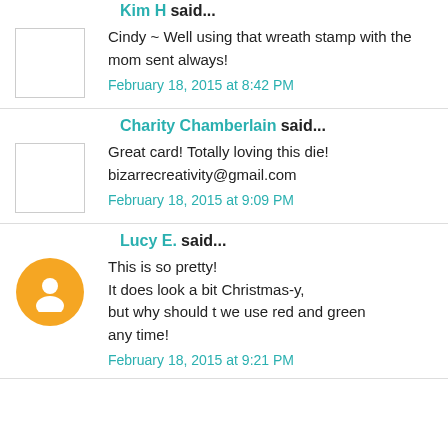Kim H said...
Cindy ~ Well using that wreath stamp with the mom sent always!
February 18, 2015 at 8:42 PM
Charity Chamberlain said...
Great card! Totally loving this die! bizarrecreativity@gmail.com
February 18, 2015 at 9:09 PM
Lucy E. said...
This is so pretty!
It does look a bit Christmas-y,
but why should t we use red and green
any time!
February 18, 2015 at 9:21 PM